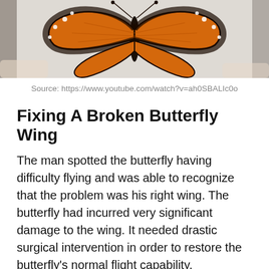[Figure (photo): Close-up photo of a monarch butterfly showing orange and black wings with white spots, held against a light textured background.]
Source: https://www.youtube.com/watch?v=ah0SBALIc0o
Fixing A Broken Butterfly Wing
The man spotted the butterfly having difficulty flying and was able to recognize that the problem was his right wing. The butterfly had incurred very significant damage to the wing. It needed drastic surgical intervention in order to restore the butterfly's normal flight capability.
Usually, if the damage of small, the broken butterfly wing can simply be